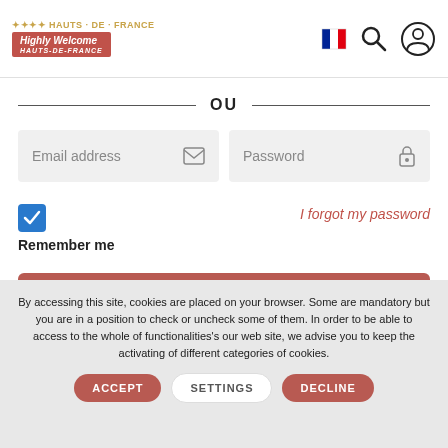Hauts-de-France Highly Welcome
OU
Email address
Password
Remember me
I forgot my password
CONNEXION
By accessing this site, cookies are placed on your browser. Some are mandatory but you are in a position to check or uncheck some of them. In order to be able to access to the whole of functionalities's our web site, we advise you to keep the activating of different categories of cookies.
ACCEPT
SETTINGS
DECLINE